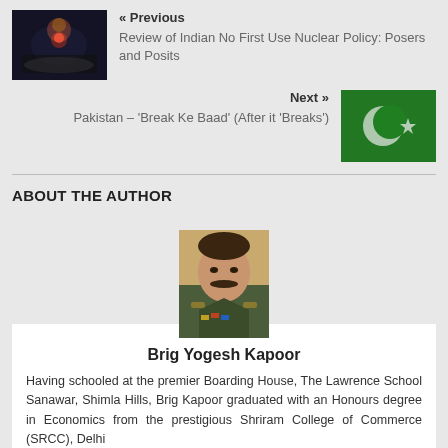[Figure (photo): Aerial night photo, possibly a nuclear or military facility]
« Previous
Review of Indian No First Use Nuclear Policy: Posers and Posits
[Figure (photo): Pakistan flag with crescent and star on green background]
Next »
Pakistan – 'Break Ke Baad' (After it 'Breaks')
ABOUT THE AUTHOR
[Figure (photo): Portrait photo of Brig Yogesh Kapoor in military uniform]
Brig Yogesh Kapoor
Having schooled at the premier Boarding House, The Lawrence School Sanawar, Shimla Hills, Brig Kapoor graduated with an Honours degree in Economics from the prestigious Shriram College of Commerce (SRCC), Delhi